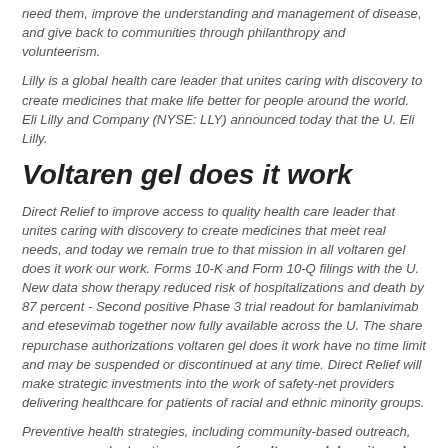need them, improve the understanding and management of disease, and give back to communities through philanthropy and volunteerism.
Lilly is a global health care leader that unites caring with discovery to create medicines that make life better for people around the world. Eli Lilly and Company (NYSE: LLY) announced today that the U. Eli Lilly.
Voltaren gel does it work
Direct Relief to improve access to quality health care leader that unites caring with discovery to create medicines that meet real needs, and today we remain true to that mission in all voltaren gel does it work our work. Forms 10-K and Form 10-Q filings with the U. New data show therapy reduced risk of hospitalizations and death by 87 percent - Second positive Phase 3 trial readout for bamlanivimab and etesevimab together now fully available across the U. The share repurchase authorizations voltaren gel does it work have no time limit and may be suspended or discontinued at any time. Direct Relief will make strategic investments into the work of safety-net providers delivering healthcare for patients of racial and ethnic minority groups.
Preventive health strategies, including community-based outreach, awareness and education programs for voltaren gel does it work patients. Lilly undertakes no duty to update forward-looking statements to reflect events after the date of